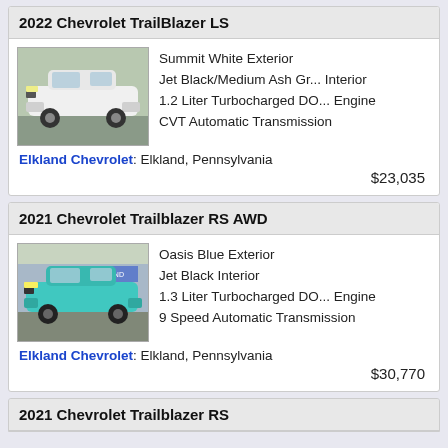2022 Chevrolet TrailBlazer LS
[Figure (photo): White 2022 Chevrolet TrailBlazer LS SUV parked outdoors]
Summit White Exterior
Jet Black/Medium Ash Gr... Interior
1.2 Liter Turbocharged DO... Engine
CVT Automatic Transmission
Elkland Chevrolet: Elkland, Pennsylvania
$23,035
2021 Chevrolet Trailblazer RS AWD
[Figure (photo): Teal/blue 2021 Chevrolet Trailblazer RS AWD parked in front of a dealership]
Oasis Blue Exterior
Jet Black Interior
1.3 Liter Turbocharged DO... Engine
9 Speed Automatic Transmission
Elkland Chevrolet: Elkland, Pennsylvania
$30,770
2021 Chevrolet Trailblazer RS